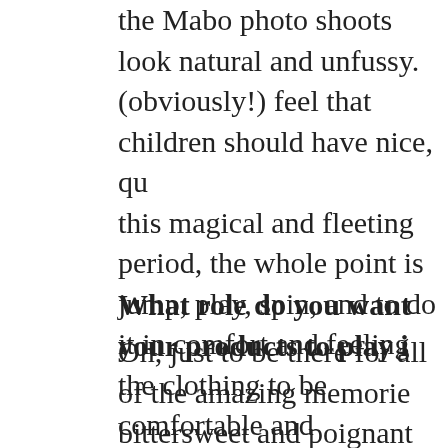the Mabo photo shoots look natural and unfussy. (obviously!) feel that children should have nice, qu this magical and fleeting period, the whole point is jump, play, spin, and to do it in comfort and feeling the clothing to be comfortable and unprecious enc move between school to the playground, and ever events. I also think it's important that they have a s clothing choices and don't feel "styled" by parents important way of expressing yourself throughout li a healthy sense of identity through style, rather tha or brands, can be such a nice lesson to learn earl
What role do you want your products to play i
Oh, just to be there for all of the amazing memorie bittersweet and poignant how quickly this time pas you how heartwarming it is to get photos people s the world and just feel so lucky that I have some s those special events, photos, and everyday mome of the pyjamas was a super sweet new example